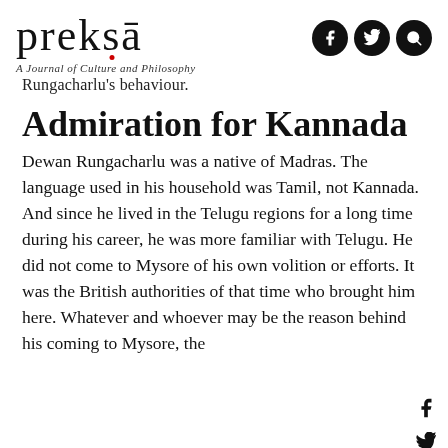prekṣa — A Journal of Culture and Philosophy
Rungacharlu's behaviour.
Admiration for Kannada
Dewan Rungacharlu was a native of Madras. The language used in his household was Tamil, not Kannada. And since he lived in the Telugu regions for a long time during his career, he was more familiar with Telugu. He did not come to Mysore of his own volition or efforts. It was the British authorities of that time who brought him here. Whatever and whoever may be the reason behind his coming to Mysore, the